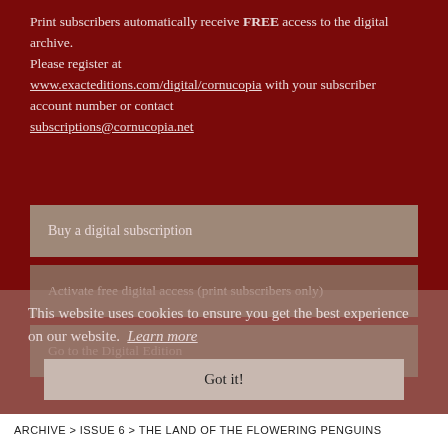Print subscribers automatically receive FREE access to the digital archive. Please register at www.exacteditions.com/digital/cornucopia with your subscriber account number or contact subscriptions@cornucopia.net
Buy a digital subscription
Activate free digital access (print subscribers only)
This website uses cookies to ensure you get the best experience on our website. Learn more
Go to the Digital Edition
Got it!
ARCHIVE > ISSUE 6 > THE LAND OF THE FLOWERING PENGUINS